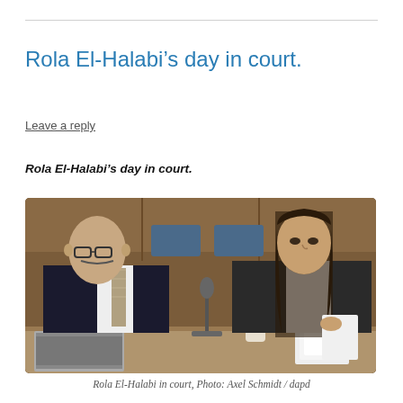Rola El-Halabi’s day in court.
Leave a reply
Rola El-Halabi’s day in court.
[Figure (photo): Two people sitting at a court table: a bald man in a dark suit and tie on the left looking toward a woman on the right who has long dark hair and is wearing a dark blazer over a white top. A laptop and microphone are visible on the table. Wooden paneling is visible in the background.]
Rola El-Halabi in court, Photo: Axel Schmidt / dapd